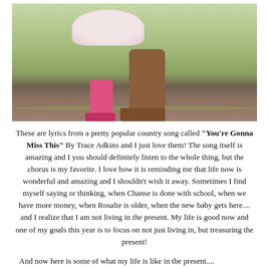[Figure (photo): Outdoor photo showing feet and lower legs of an adult wearing brown cowboy boots and a child wearing pink boots, with a floral dress hem visible, standing on dry grass/dirt ground.]
These are lyrics from a pretty popular country song called "You're Gonna Miss This" By Trace Adkins and I just love them! The song itself is amazing and I you should definitely listen to the whole thing, but the chorus is my favorite. I love how it is reminding me that life now is wonderful and amazing and I shouldn't wish it away. Sometimes I find myself saying or thinking, when Chanse is done with school, when we have more money, when Rosalie is older, when the new baby gets here.... and I realize that I am not living in the present. My life is good now and one of my goals this year is to focus on not just living in, but treasuring the present!
And now here is some of what my life is like in the present....